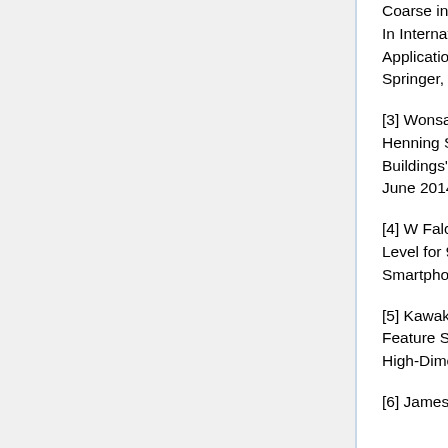Coarse in-building localization with smartphones. In International Conference on Mobile Computing, Applications, and Services (pp. 343-354). Springer, Berlin, Heidelberg.
[3] Wonsang Song, Jae Woo Lee, Byung Suk Lee, Henning Schulzrinne. "Finding 9-1-1 Callers in Tall Buildings". IEEE WoWMoM '14. Sydney, Australia, June 2014.
[4] W Falcon, H Schulzrinne, Predicting Floor-Level for 911 Calls with Neural Networks and Smartphone Sensor Data, 2018
[5] Kawakubo, Hideko and Hiroaki Yoshida. “Rapid Feature Selection Based on Random Forests for High-Dimensional Data.” (2012).
[6] James Bergstra and Yoshua Bengio.